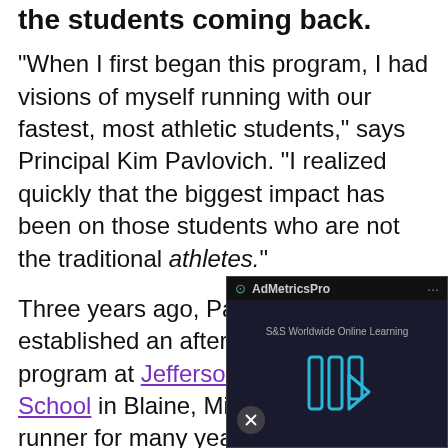the students coming back.
"When I first began this program, I had visions of myself running with our fastest, most athletic students," says Principal Kim Pavlovich. "I realized quickly that the biggest impact has been on those students who are not the traditional athletes."
Three years ago, Pavlovich established an after-school run/walk program at Jefferson Elementary School in Blaine, Minnesota. As a runner for many years, she hoped to use motivate her students and somewhat so Pavlovich wanted school program t connect with stu
[Figure (screenshot): Ad overlay showing AdMetricsPro advertisement with S&S Worldwide Online Learning video player with play button, mute button, and dark background]